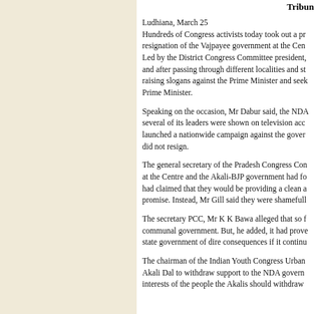Tribune
Ludhiana, March 25
Hundreds of Congress activists today took out a pr... resignation of the Vajpayee government at the Cen...
Led by the District Congress Committee president, and after passing through different localities and st... raising slogans against the Prime Minister and seek... Prime Minister.
Speaking on the occasion, Mr Dabur said, the NDA... several of its leaders were shown on television acc... launched a nationwide campaign against the gover... did not resign.
The general secretary of the Pradesh Congress Co... at the Centre and the Akali-BJP government had fo... had claimed that they would be providing a clean a... promise. Instead, Mr Gill said they were shameull...
The secretary PCC, Mr K K Bawa alleged that so f... communal government. But, he added, it had prove... state government of dire consequences if it continu...
The chairman of the Indian Youth Congress Urban... Akali Dal to withdraw support to the NDA govern... interests of the people the Akalis should withdraw...